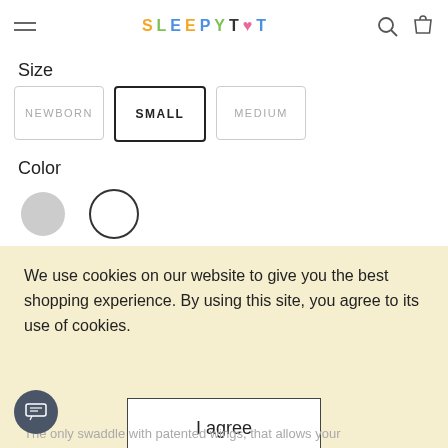SLEEPYTOT
Size
NEWBORN  SMALL  MEDIUM
Color
Color swatches: light grey circle, white circle with dark outline
Quantity: - 1 +
Add to cart
We use cookies on our website to give you the best shopping experience. By using this site, you agree to its use of cookies.
I agree
The only swaddle with patented wings, that allows your